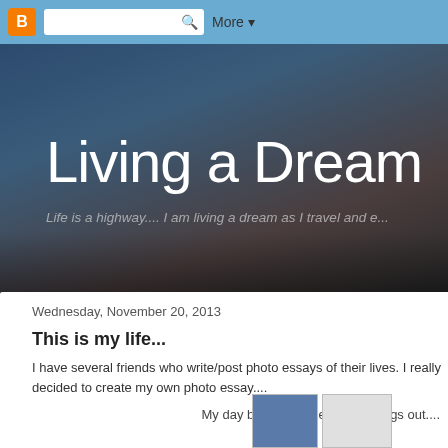Blogger navbar with search and More button
Living a Dream
Life is a highway.... I am living a dream as I travel and e...
Wednesday, November 20, 2013
This is my life...
I have several friends who write/post photo essays of their lives. I really decided to create my own photo essay....
My day begins with letting the dogs out....